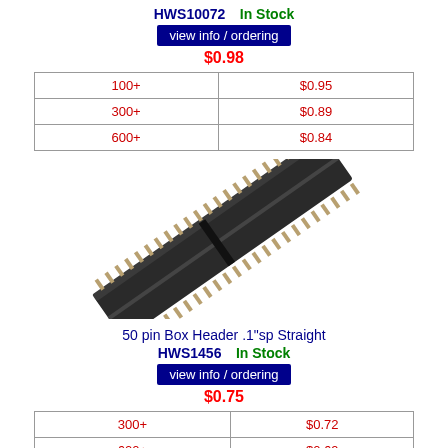HWS10072    In Stock
view info / ordering
$0.98
|  |  |
| --- | --- |
| 100+ | $0.95 |
| 300+ | $0.89 |
| 600+ | $0.84 |
[Figure (photo): 50 pin Box Header .1 inch spacing Straight connector, black, viewed at angle]
50 pin Box Header .1"sp Straight
HWS1456    In Stock
view info / ordering
$0.75
|  |  |
| --- | --- |
| 300+ | $0.72 |
| 600+ | $0.69 |
| 1200+ | $0.67 |